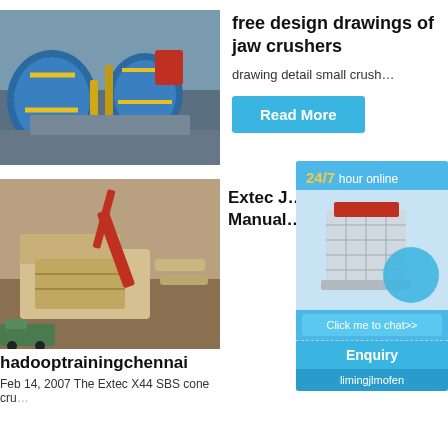[Figure (photo): Aerial view of industrial mining/crushing equipment with large blue cylindrical mills and yellow piping]
free design drawings of jaw crushers
drawing detail small crush…
Read More
[Figure (photo): Construction site with large mobile jaw crusher equipment and excavator]
hadooptrainingchennai
Extec J… Manual…
[Figure (infographic): 24/7 hour online sidebar widget with jaw crusher image, click to chat button, Enquiry bar, and limingjlmofen text]
Feb 14, 2007 The Extec X44 SBS cone cru…